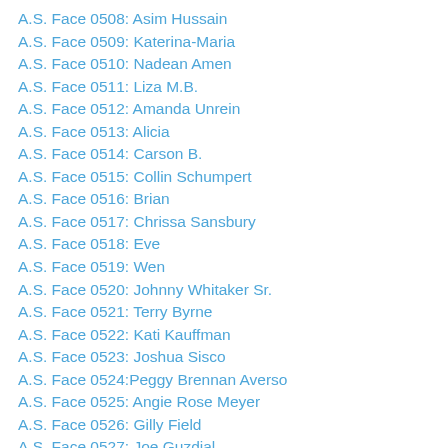A.S. Face 0508: Asim Hussain
A.S. Face 0509: Katerina-Maria
A.S. Face 0510: Nadean Amen
A.S. Face 0511: Liza M.B.
A.S. Face 0512: Amanda Unrein
A.S. Face 0513: Alicia
A.S. Face 0514: Carson B.
A.S. Face 0515: Collin Schumpert
A.S. Face 0516: Brian
A.S. Face 0517: Chrissa Sansbury
A.S. Face 0518: Eve
A.S. Face 0519: Wen
A.S. Face 0520: Johnny Whitaker Sr.
A.S. Face 0521: Terry Byrne
A.S. Face 0522: Kati Kauffman
A.S. Face 0523: Joshua Sisco
A.S. Face 0524:Peggy Brennan Averso
A.S. Face 0525: Angie Rose Meyer
A.S. Face 0526: Gilly Field
A.S. Face 0527: Joe Guzdial